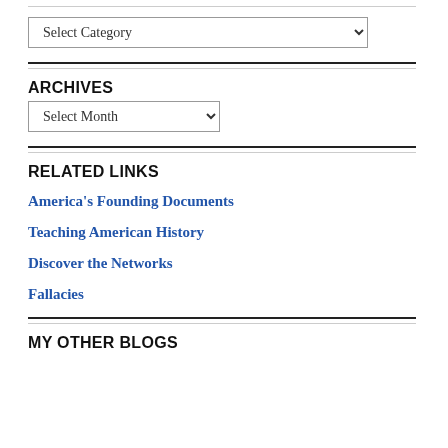[Figure (screenshot): Dropdown select box labeled 'Select Category']
ARCHIVES
[Figure (screenshot): Dropdown select box labeled 'Select Month']
RELATED LINKS
America's Founding Documents
Teaching American History
Discover the Networks
Fallacies
MY OTHER BLOGS